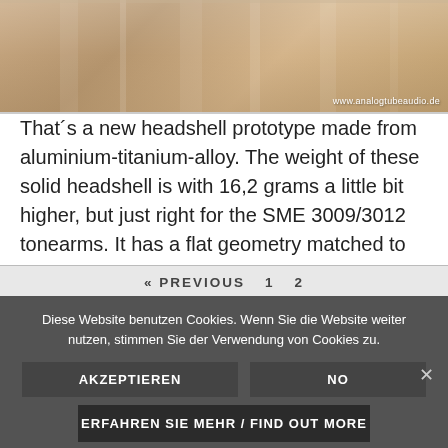[Figure (photo): Close-up photo of a metallic headshell prototype made from aluminium-titanium-alloy with watermark 'www.analogtubeaudio.de']
That´s a new headshell prototype made from aluminium-titanium-alloy. The weight of these solid headshell is with 16,2 grams a little bit higher, but just right for the SME 3009/3012 tonearms. It has a flat geometry matched to install flat cartridges like a Denon DL103.
« PREVIOUS   1   2
Diese Website benutzen Cookies. Wenn Sie die Website weiter nutzen, stimmen Sie der Verwendung von Cookies zu.
AKZEPTIEREN   NO
ERFAHREN SIE MEHR / FIND OUT MORE